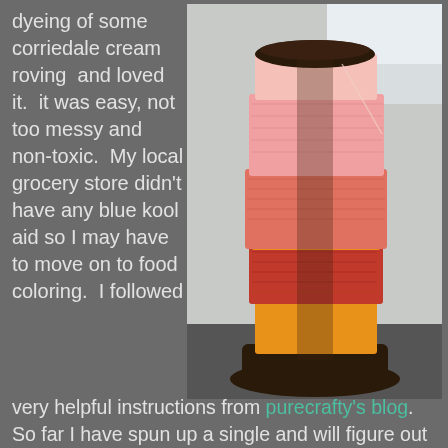dyeing of some corriedale cream roving and loved it. it was easy, not too messy and non-toxic. My local grocery store didn't have any blue kool aid so I may have to move on to food coloring. I followed very helpful instructions from purecrafty's blog. So far I have spun up a single and will figure out how I want to mix and ply the colors.These are not my usual earth tones so it may be challenging figuring out the right
[Figure (photo): A wooden bobbin/spool wound with hand-spun yarn in shades of pink, coral, orange, and red, sitting on a dark surface.]